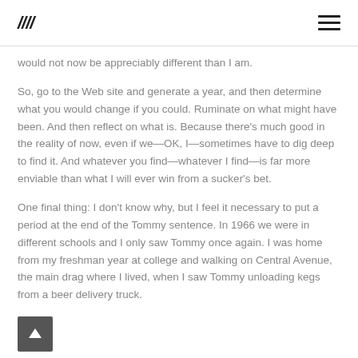MEA [logo]
would not now be appreciably different than I am.
So, go to the Web site and generate a year, and then determine what you would change if you could. Ruminate on what might have been. And then reflect on what is. Because there's much good in the reality of now, even if we—OK, I—sometimes have to dig deep to find it. And whatever you find—whatever I find—is far more enviable than what I will ever win from a sucker's bet.
One final thing: I don't know why, but I feel it necessary to put a period at the end of the Tommy sentence. In 1966 we were in different schools and I only saw Tommy once again. I was home from my freshman year at college and walking on Central Avenue, the main drag where I lived, when I saw Tommy unloading kegs from a beer delivery truck.